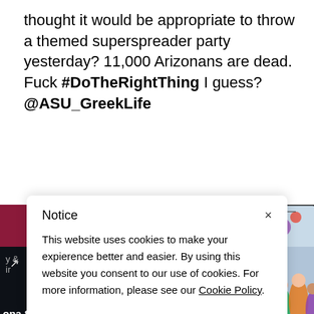thought it would be appropriate to throw a themed superspreader party yesterday? 11,000 Arizonans are dead. Fuck #DoTheRightThing I guess? @ASU_GreekLife
[Figure (screenshot): Two side-by-side screenshots: left shows Arizona State Greek Life social media profile with dark background and maroon header; right shows a crowded party scene viewed through a phone camera]
Notice
This website uses cookies to make your expierence better and easier. By using this website you consent to our use of cookies. For more information, please see our Cookie Policy.